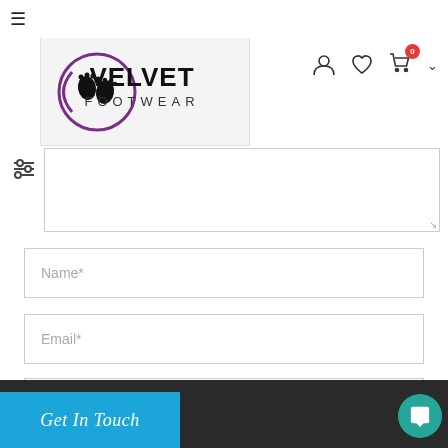[Figure (logo): Velvet Footwear logo with footprint icon in purple circle and text VELVET FOOTWEAR]
[Figure (screenshot): Navigation icons: user account, heart/wishlist, shopping cart with 0 badge, and dropdown chevron]
[Figure (infographic): Filter/sliders icon]
Name*
Email*
Subject
POST COMMENT
Get In Touch